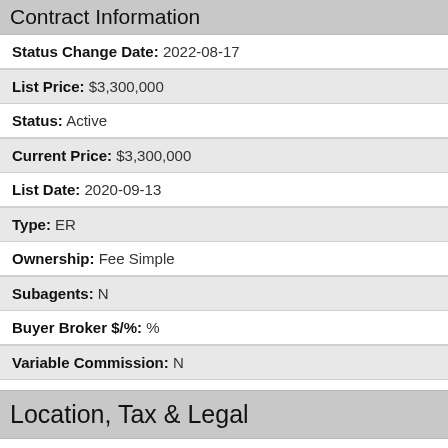Contract Information
Status Change Date: 2022-08-17
List Price: $3,300,000
Status: Active
Current Price: $3,300,000
List Date: 2020-09-13
Type: ER
Ownership: Fee Simple
Subagents: N
Buyer Broker $/%: %
Variable Commission: N
Location, Tax & Legal
Map Code/Grid: F37
House Number: 37875